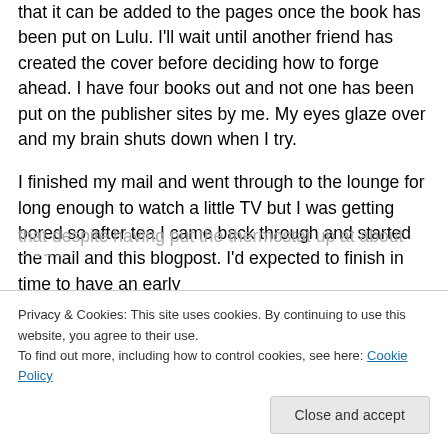that it can be added to the pages once the book has been put on Lulu. I'll wait until another friend has created the cover before deciding how to forge ahead. I have four books out and not one has been put on the publisher sites by me. My eyes glaze over and my brain shuts down when I try.
I finished my mail and went through to the lounge for long enough to watch a little TV but I was getting bored so after tea I came back through and started the mail and this blogpost. I'd expected to finish in time to have an early
that despite having put the thermostat up at about 4:00 I'm
Privacy & Cookies: This site uses cookies. By continuing to use this website, you agree to their use.
To find out more, including how to control cookies, see here: Cookie Policy